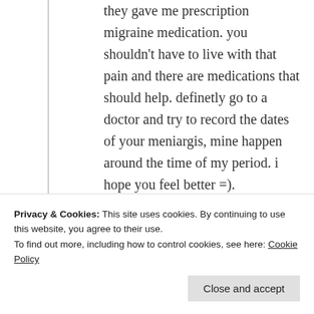they gave me prescription migraine medication. you shouldn't have to live with that pain and there are medications that should help. definetly go to a doctor and try to record the dates of your meniargis, mine happen around the time of my period. i hope you feel better =).
★ Like
↪ Reply
Privacy & Cookies: This site uses cookies. By continuing to use this website, you agree to their use. To find out more, including how to control cookies, see here: Cookie Policy